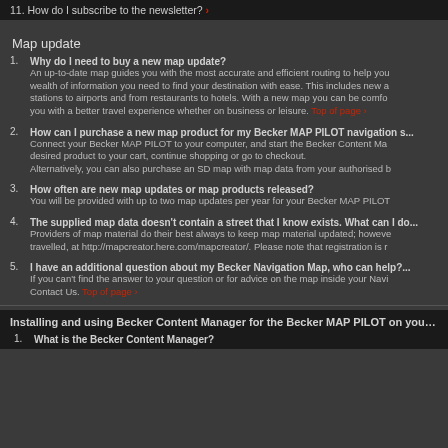11. How do I subscribe to the newsletter? ›
Map update
1. Why do I need to buy a new map update? An up-to-date map guides you with the most accurate and efficient routing to help you... wealth of information you need to find your destination with ease. This includes new a... stations to airports and from restaurants to hotels. With a new map you can be comfo... you with a better travel experience whether on business or leisure. Top of page ›
2. How can I purchase a new map product for my Becker MAP PILOT navigation s... Connect your Becker MAP PILOT to your computer, and start the Becker Content Ma... desired product to your cart, continue shopping or go to checkout. Alternatively, you can also purchase an SD map with map data from your authorised b...
3. How often are new map updates or map products released? You will be provided with up to two map updates per year for your Becker MAP PILOT...
4. The supplied map data doesn't contain a street that I know exists. What can I do... Providers of map material do their best always to keep map material updated; howeve... travelled, at http://mapcreator.here.com/mapcreator/. Please note that registration is r...
5. I have an additional question about my Becker Navigation Map, who can help?... If you can't find the answer to your question or for advice on the map inside your Navi... Contact Us. Top of page ›
Installing and using Becker Content Manager for the Becker MAP PILOT on your PC...
1. What is the Becker Content Manager?